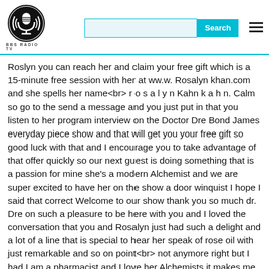[Figure (logo): BBS Radio TV logo - circular black and white microphone/headphone icon with text BBS RADIO TV below]
Roslyn you can reach her and claim your free gift which is a 15-minute free session with her at ww.w. Rosalyn khan.com and she spells her name<br> r o s a l y n Kahn k a h n. Calm so go to the send a message and you just put in that you listen to her program interview on the Doctor Dre Bond James everyday piece show and that will get you your free gift so good luck with that and I encourage you to take advantage of that offer quickly so our next guest is doing something that is a passion for mine she's a modern Alchemist and we are super excited to have her on the show a door winquist I hope I said that correct Welcome to our show thank you so much dr. Dre on such a pleasure to be here with you and I loved the conversation that you and Rosalyn just had such a delight and a lot of a line that is special to hear her speak of rose oil with just remarkable and so on point<br> not anymore right but I had I am a pharmacist and I love her Alchemists it makes me smile<br> is elf as a modern Alchemist I love it and you're doing some wonderful and healing and energy